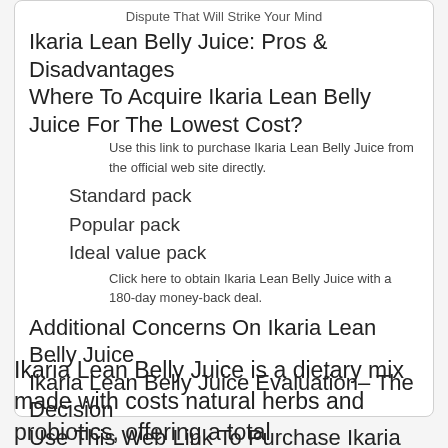Dispute That Will Strike Your Mind
Ikaria Lean Belly Juice: Pros & Disadvantages
Where To Acquire Ikaria Lean Belly Juice For The Lowest Cost?
Use this link to purchase Ikaria Lean Belly Juice from the official web site directly.
Standard pack
Popular pack
Ideal value pack
Click here to obtain Ikaria Lean Belly Juice with a 180-day money-back deal.
Additional Concerns On Ikaria Lean Belly Juice
Ikaria Lean Belly Juice Evaluation– The Decision
Use This Web Link To Purchase Ikaria Lean Belly Juice From The Real Internet Site Directly Up To 50% Off ->
Ikaria Lean Belly Juice is a dietary mix made with costs natural herbs and probiotics, offering a total